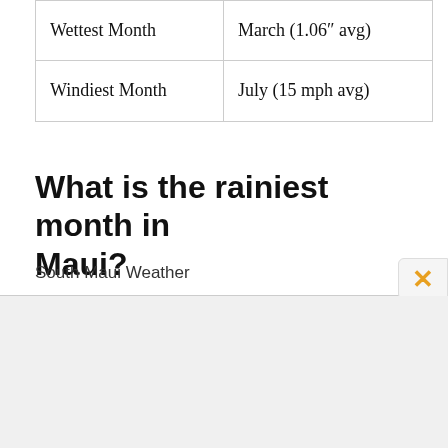| Wettest Month | March (1.06" avg) |
| Windiest Month | July (15 mph avg) |
What is the rainiest month in Maui?
South Maui Weather